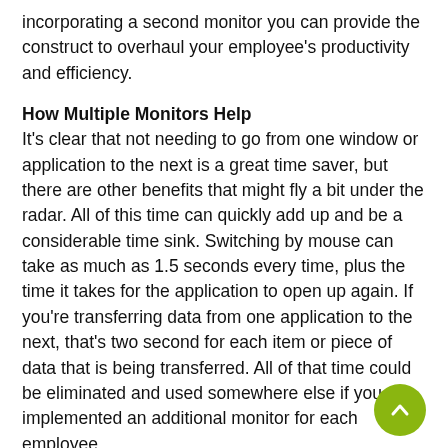incorporating a second monitor you can provide the construct to overhaul your employee's productivity and efficiency.
How Multiple Monitors Help
It's clear that not needing to go from one window or application to the next is a great time saver, but there are other benefits that might fly a bit under the radar. All of this time can quickly add up and be a considerable time sink. Switching by mouse can take as much as 1.5 seconds every time, plus the time it takes for the application to open up again. If you're transferring data from one application to the next, that's two second for each item or piece of data that is being transferred. All of that time could be eliminated and used somewhere else if you implemented an additional monitor for each employee.
How It Adds Up
Let's say that these two seconds are universally attributed to every task that is performed every day at every workstation. Let's say that you have 30 employees who are all responsible for data entry. These employees are all responsible for updating